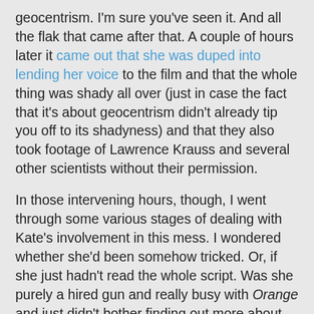geocentrism. I'm sure you've seen it. And all the flak that came after that. A couple of hours later it came out that she was duped into lending her voice to the film and that the whole thing was shady all over (just in case the fact that it's about geocentrism didn't already tip you off to its shadyness) and that they also took footage of Lawrence Krauss and several other scientists without their permission.
In those intervening hours, though, I went through some various stages of dealing with Kate's involvement in this mess. I wondered whether she'd been somehow tricked. Or, if she just hadn't read the whole script. Was she purely a hired gun and really busy with Orange and just didn't bother finding out more about the project? Then came the more awkward question--does Captain Janeway think everything revolves around the earth? Surely not. But I considered the possibility as I made lunch and I wondered why I (and the rest of the internet) was so consumed by this idea. A person's personal beliefs (no matter how refuted they are by science) aren't anyone else's business but their own--unless they're harmful to other people. Is that it? Is it bothersome because Kate Mulgrew got wrapped up in a film that